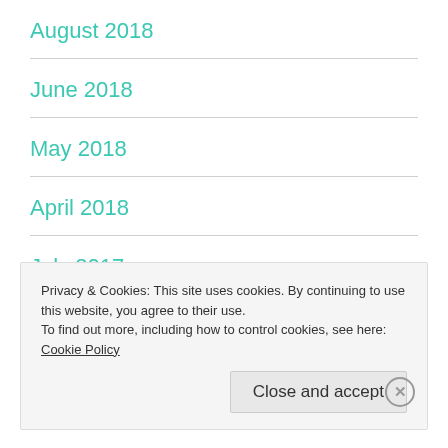August 2018
June 2018
May 2018
April 2018
July 2017
June 2017
Privacy & Cookies: This site uses cookies. By continuing to use this website, you agree to their use.
To find out more, including how to control cookies, see here: Cookie Policy
Close and accept